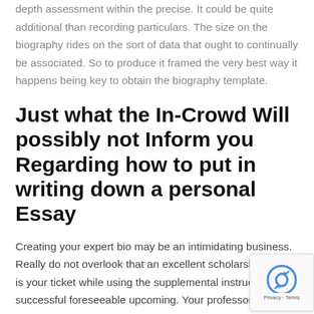depth assessment within the precise. It could be quite additional than recording particulars. The size on the biography rides on the sort of data that ought to continually be associated. So to produce it framed the very best way it happens being key to obtain the biography template.
Just what the In-Crowd Will possibly not Inform you Regarding how to put in writing down a personal Essay
Creating your expert bio may be an intimidating business. Really do not overlook that an excellent scholarship essay is your ticket while using the supplemental instruction and successful foreseeable upcoming. Your professor want you to most d… compose a persuasive essay.